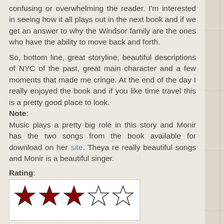confusing or overwhelming the reader. I'm interested in seeing how it all plays out in the next book and if we get an answer to why the Windsor family are the ones who have the ability to move back and forth.
So, bottom line, great storyline, beautiful descriptions of NYC of the past, great main character and a few moments that made me cringe. At the end of the day I really enjoyed the book and if you like time travel this is a pretty good place to look. Note: Music plays a pretty big role in this story and Monir has the two songs from the book available for download on her site. Theya re really beautiful songs and Monir is a beautiful singer.
Rating:
[Figure (other): 3 out of 5 stars rating — three filled dark red stars and two empty/outline stars]
Kate E. at 12:22 PM    3 comments: